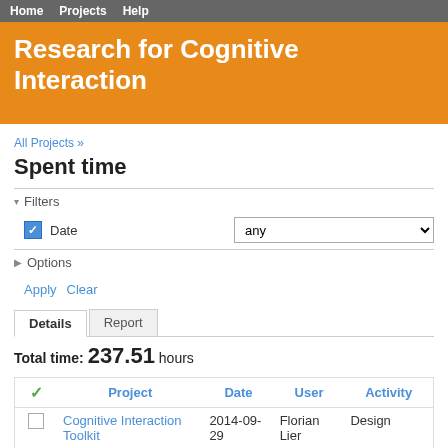Home   Projects   Help
Research for Cognitive Interaction
All Projects »
Spent time
Filters
Date  any
Options
Apply   Clear
Details   Report
Total time: 237.51 hours
| ✓ | Project | Date | User | Activity |
| --- | --- | --- | --- | --- |
| □ | Cognitive Interaction Toolkit | 2014-09-29 | Florian Lier | Design |
| □ | Cognitive Interaction Toolkit | 2014-09-27 | Florian Lier | Development |